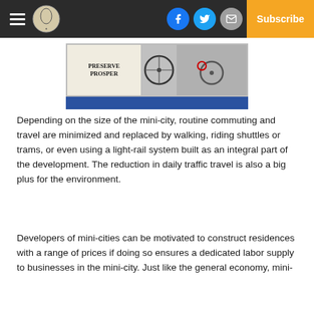Subscribe
[Figure (photo): Partial image showing a logo with text 'Preserve Prosper' on the left and bicycle wheels on the right, with a blue bar at the bottom.]
Depending on the size of the mini-city, routine commuting and travel are minimized and replaced by walking, riding shuttles or trams, or even using a light-rail system built as an integral part of the development. The reduction in daily traffic travel is also a big plus for the environment.
Developers of mini-cities can be motivated to construct residences with a range of prices if doing so ensures a dedicated labor supply to businesses in the mini-city. Just like the general economy, mini-